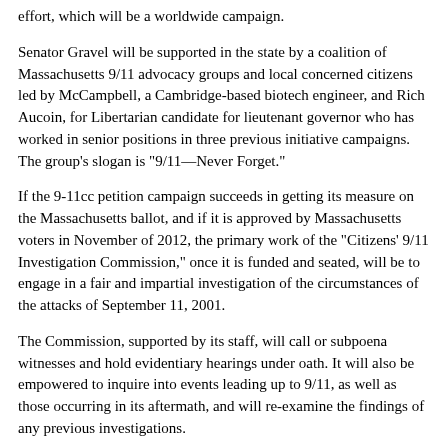effort, which will be a worldwide campaign.
Senator Gravel will be supported in the state by a coalition of Massachusetts 9/11 advocacy groups and local concerned citizens led by McCampbell, a Cambridge-based biotech engineer, and Rich Aucoin, for Libertarian candidate for lieutenant governor who has worked in senior positions in three previous initiative campaigns. The group's slogan is "9/11—Never Forget."
If the 9-11cc petition campaign succeeds in getting its measure on the Massachusetts ballot, and if it is approved by Massachusetts voters in November of 2012, the primary work of the "Citizens' 9/11 Investigation Commission," once it is funded and seated, will be to engage in a fair and impartial investigation of the circumstances of the attacks of September 11, 2001.
The Commission, supported by its staff, will call or subpoena witnesses and hold evidentiary hearings under oath. It will also be empowered to inquire into events leading up to 9/11, as well as those occurring in its aftermath, and will re-examine the findings of any previous investigations.
The Commission established by the initiative law will consist of at least members. Commissioners will be selected by the Citizens' 9/11 Commission Campaign steering committee from a screened list of nominations submitted by the public and also from among its own internally compiled list of distinguished citizens. The newly seated commissioners will then elect a